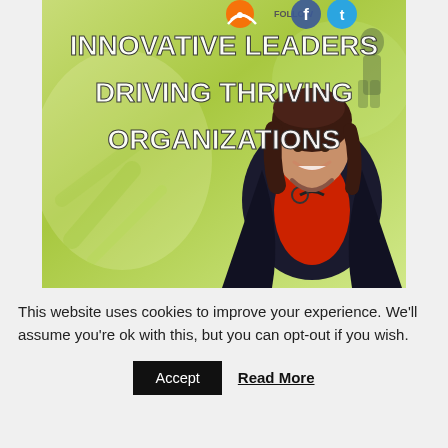[Figure (photo): Banner image with green outdoor background, a smiling woman in a black blazer and red top holding glasses, with bold white text reading 'INNOVATIVE LEADERS DRIVING THRIVING ORGANIZATIONS' and social media icons (RSS, FOLLOW, Facebook, Twitter) in the top right corner.]
This website uses cookies to improve your experience. We'll assume you're ok with this, but you can opt-out if you wish.
Accept  Read More